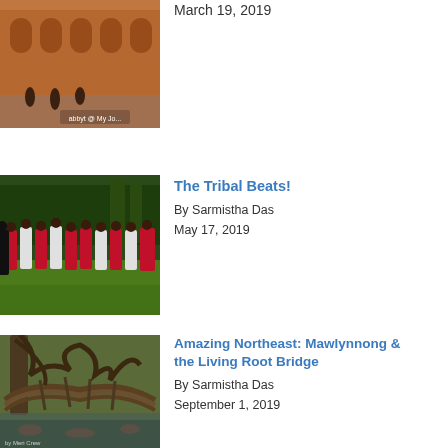[Figure (photo): Partial top image of a reddish-orange historic building with people in front, partially cut off at the top of the page]
March 19, 2019
[Figure (photo): Group of tribal dancers in red and white costumes performing on a green lawn with trees in the background]
The Tribal Beats!
By Sarmistha Das
May 17, 2019
[Figure (photo): Living root bridge in a lush green forest, made of intertwined tree roots forming a natural bridge structure]
Amazing Northeast: Mawlynnong & the Living Root Bridge
By Sarmistha Das
September 1, 2019